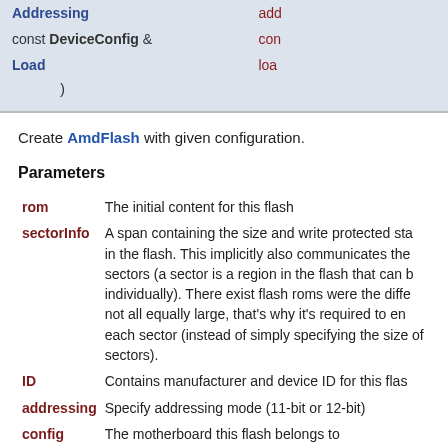| Addressing | add |
| const DeviceConfig & | con |
| Load | loa |
| ) |  |
Create AmdFlash with given configuration.
Parameters
rom — The initial content for this flash
sectorInfo — A span containing the size and write protected sta in the flash. This implicitly also communicates the sectors (a sector is a region in the flash that can b individually). There exist flash roms were the diffe not all equally large, that's why it's required to en each sector (instead of simply specifying the size of sectors).
ID — Contains manufacturer and device ID for this flas
addressing — Specify addressing mode (11-bit or 12-bit)
config — The motherboard this flash belongs to